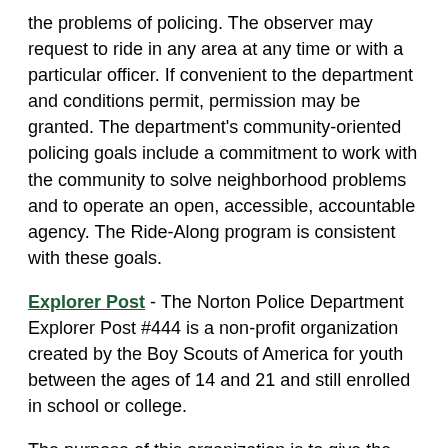the problems of policing. The observer may request to ride in any area at any time or with a particular officer. If convenient to the department and conditions permit, permission may be granted. The department's community-oriented policing goals include a commitment to work with the community to solve neighborhood problems and to operate an open, accessible, accountable agency. The Ride-Along program is consistent with these goals.
Explorer Post - The Norton Police Department Explorer Post #444 is a non-profit organization created by the Boy Scouts of America for youth between the ages of 14 and 21 and still enrolled in school or college.
The purpose of this organization is to give the youth an opportunity to better understand the police officer's functions in law enforcement and to broaden the youth's knowledge of basic procedures. The Norton Post was organized in 1986. The Post meets once a week for classroom training. Explorers assist on-duty officers at school functions and city events. They also compete against other posts in law enforcement competitions.